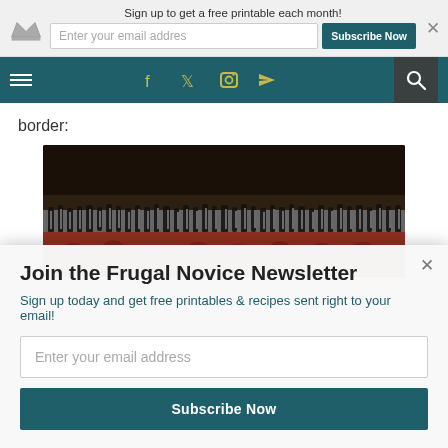Sign up to get a free printable each month!
Enter your email addres
Subscribe Now
border:
[Figure (photo): Close-up photo of a rug border showing black and white fringe tassels on top and a red patterned rug body below, against a dark background.]
Join the Frugal Novice Newsletter
Sign up today and get free printables & recipes sent right to your email!
Enter your email address
Subscribe Now